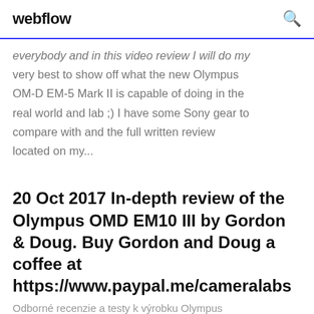webflow
everybody and in this video review I will do my very best to show off what the new Olympus OM-D EM-5 Mark II is capable of doing in the real world and lab ;) I have some Sony gear to compare with and the full written review located on my...
20 Oct 2017 In-depth review of the Olympus OMD EM10 III by Gordon & Doug. Buy Gordon and Doug a coffee at https://www.paypal.me/cameralabs
Odborné recenzie a testy k výrobku Olympus